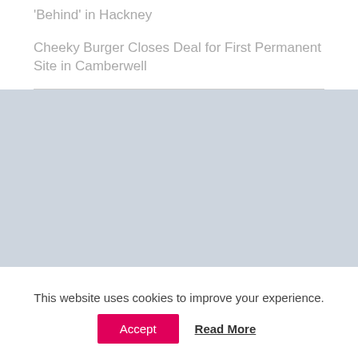'Behind' in Hackney
Cheeky Burger Closes Deal for First Permanent Site in Camberwell
[Figure (photo): Gray placeholder image block]
This website uses cookies to improve your experience.
Accept
Read More